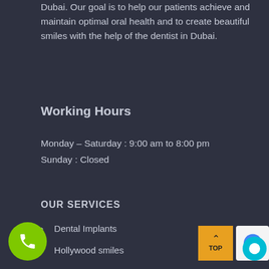Dubai. Our goal is to help our patients achieve and maintain optimal oral health and to create beautiful smiles with the help of the dentist in Dubai.
Working Hours
Monday – Saturday : 9:00 am to 8:00 pm
Sunday : Closed
OUR SERVICES
Dental Implants
Hollywood smiles
Root Canal Treatment
Teeth Whitening
Children's Dentistry
al Fillings
CBCT